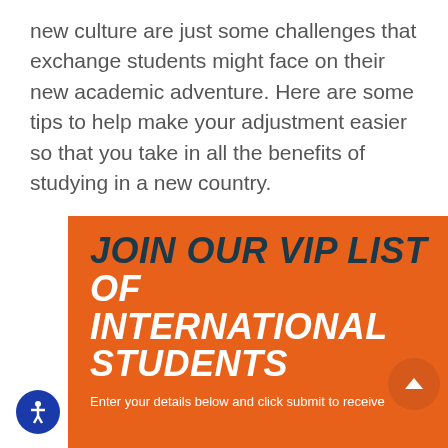new culture are just some challenges that exchange students might face on their new academic adventure. Here are some tips to help make your adjustment easier so that you take in all the benefits of studying in a new country.
JOIN OUR VIP LIST OF INTERNATIONAL STUDENTS
Enter your details below and click submit to receive